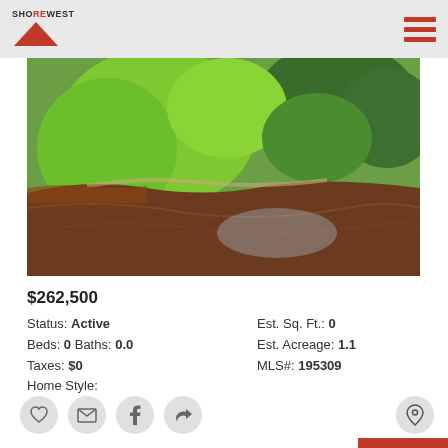Shorewest logo and navigation
[Figure (photo): Aerial view of a river winding through lush green trees and vegetation, with brown water reflecting the sky.]
$262,500
Status: Active   Est. Sq. Ft.: 0
Beds: 0 Baths: 0.0   Est. Acreage: 1.1
Taxes: $0   MLS#: 195309
Home Style: